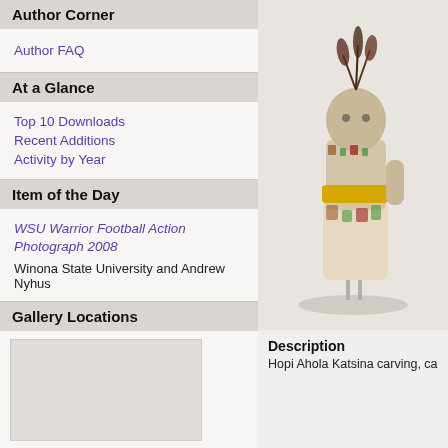Author Corner
Author FAQ
At a Glance
Top 10 Downloads
Recent Additions
Activity by Year
Item of the Day
WSU Warrior Football Action Photograph 2008
Winona State University and Andrew Nyhus
Gallery Locations
[Figure (photo): Placeholder image area for gallery locations map]
[Figure (photo): Photo of Hopi Ahola Katsina carving on a metal stand against a light background]
Description
Hopi Ahola Katsina carving, ca